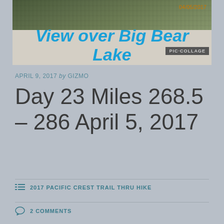[Figure (photo): Landscape photo showing tree-covered hillside with date stamp 04/05/2017, overlaid with italic bold blue text 'View over Big Bear Lake' and a PIC·COLLAGE badge]
APRIL 9, 2017 by GIZMO
Day 23 Miles 268.5 – 286 April 5, 2017
2017 PACIFIC CREST TRAIL THRU HIKE
2 COMMENTS